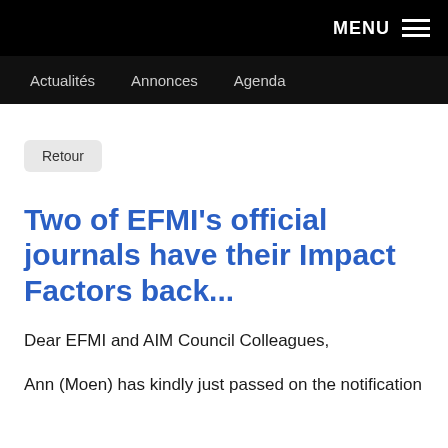MENU
Actualités   Annonces   Agenda
Retour
Two of EFMI's official journals have their Impact Factors back...
Dear EFMI and AIM Council Colleagues,
Ann (Moen) has kindly just passed on the notification